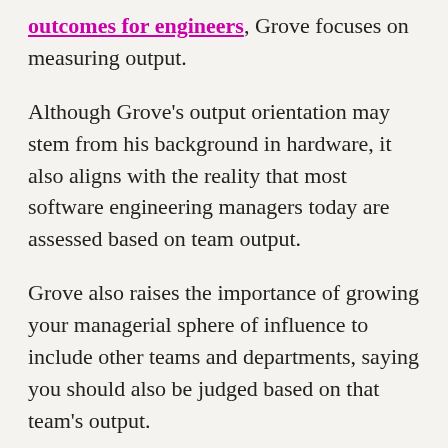outcomes for engineers, Grove focuses on measuring output.
Although Grove's output orientation may stem from his background in hardware, it also aligns with the reality that most software engineering managers today are assessed based on team output.
Grove also raises the importance of growing your managerial sphere of influence to include other teams and departments, saying you should also be judged based on that team's output.